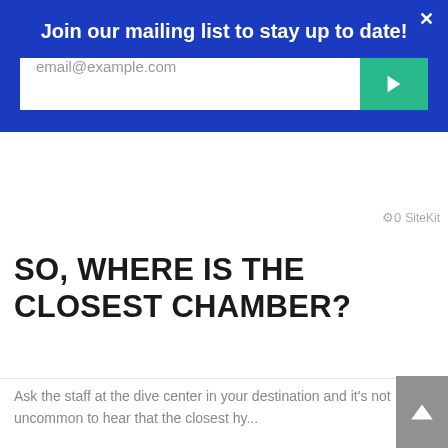Join our mailing list to stay up to date!
[Figure (screenshot): Email signup form with input field showing 'email@example.com' placeholder and a green submit button with arrow icon]
SiteKit
SO, WHERE IS THE CLOSEST CHAMBER?
Ask the staff at the dive center in your destination and it's not uncommon to hear that the closest hy...